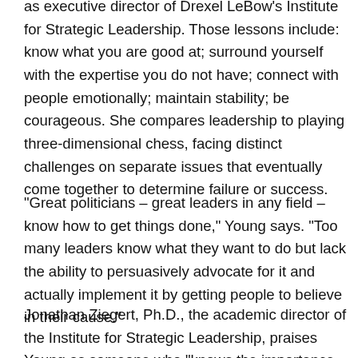as executive director of Drexel LeBow's Institute for Strategic Leadership. Those lessons include: know what you are good at; surround yourself with the expertise you do not have; connect with people emotionally; maintain stability; be courageous. She compares leadership to playing three-dimensional chess, facing distinct challenges on separate issues that eventually come together to determine failure or success.
“Great politicians – great leaders in any field – know how to get things done,” Young says. “Too many leaders know what they want to do but lack the ability to persuasively advocate for it and actually implement it by getting people to believe in their cause.”
Jonathan Ziegert, Ph.D., the academic director of the Institute for Strategic Leadership, praises Young as someone who “knows the importance of both thinking and doing with regard to leadership. Based on her background